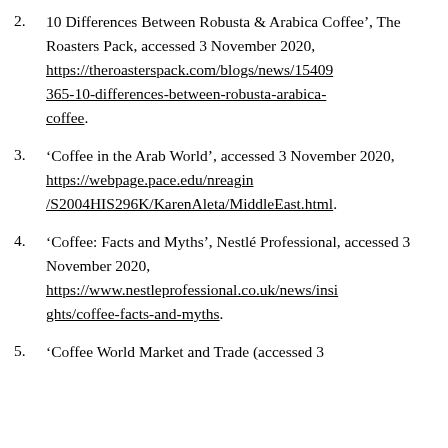2. 10 Differences Between Robusta & Arabica Coffee', The Roasters Pack, accessed 3 November 2020, https://theroasterspack.com/blogs/news/15409365-10-differences-between-robusta-arabica-coffee.
3. 'Coffee in the Arab World', accessed 3 November 2020, https://webpage.pace.edu/nreagin/S2004HIS296K/KarenAleta/MiddleEast.html.
4. 'Coffee: Facts and Myths', Nestlé Professional, accessed 3 November 2020, https://www.nestleprofessional.co.uk/news/insights/coffee-facts-and-myths.
5. 'Coffee World Market and Trade (accessed 3...